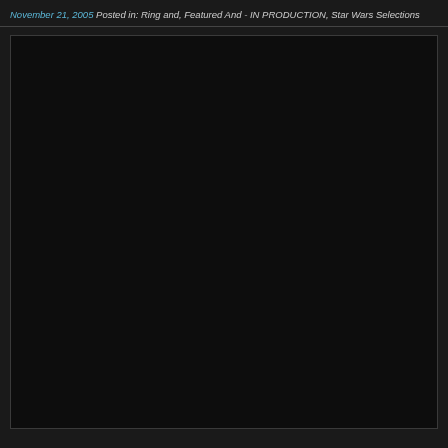November 21, 2005 Posted in: Ring and, Featured And - IN PRODUCTION, Star Wars Selections
[Figure (photo): A large dark/black image area, likely a photo or video still that is very dark and difficult to discern details from. Contained within a dark bordered rectangle.]